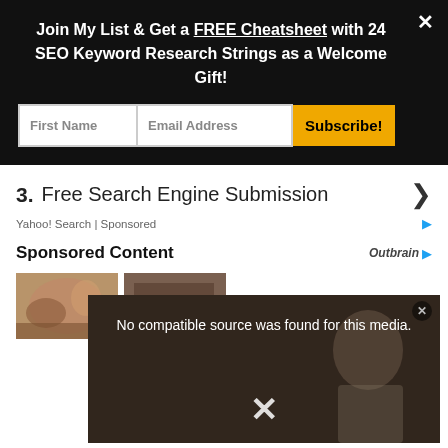Join My List & Get a FREE Cheatsheet with 24 SEO Keyword Research Strings as a Welcome Gift!
[Figure (screenshot): Email signup form with First Name and Email Address input fields and a Subscribe! button]
3. Free Search Engine Submission
Yahoo! Search | Sponsored
Sponsored Content
[Figure (screenshot): Outbrain logo branding]
[Figure (photo): Thumbnail images of sponsored content articles]
[Figure (screenshot): Video player overlay showing 'No compatible source was found for this media.' with an X close button]
Y